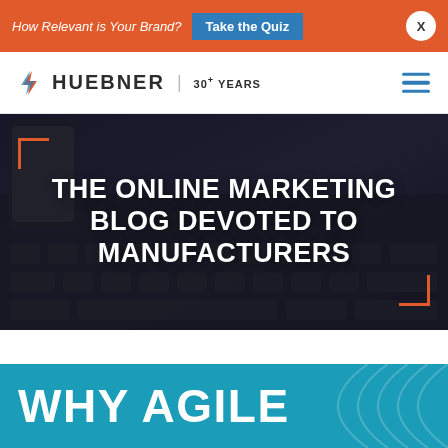How Relevant is Your Brand? Take the Quiz
[Figure (logo): Huebner logo with lightning bolt icon and text: HUEBNER | 30+ YEARS]
THE ONLINE MARKETING BLOG DEVOTED TO MANUFACTURERS
WHY AGILE